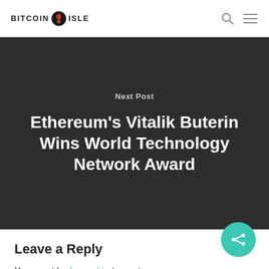BITCOIN ISLE
Next Post
Ethereum's Vitalik Buterin Wins World Technology Network Award
Leave a Reply
You must be logged in to post a